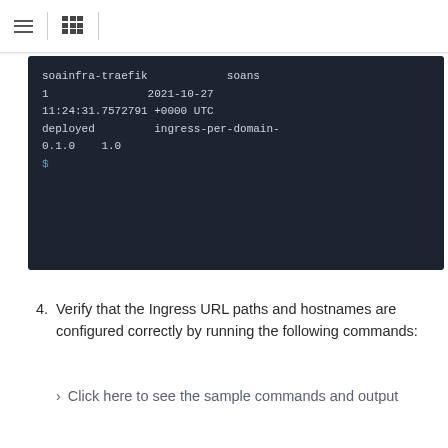[Figure (screenshot): Terminal/code block showing helm release output: soainfra-traefik   soans   1   2021-10-27   11:24:31.7572791 +0000 UTC   deployed   ingress-per-domain-0.1.0   1.0   $]
Verify that the Ingress URL paths and hostnames are configured correctly by running the following commands:
> Click here to see the sample commands and output